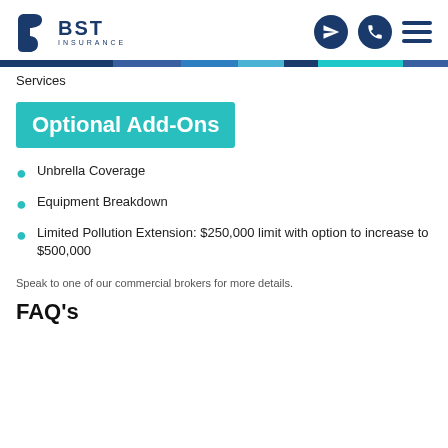BST Insurance
Services
Optional Add-Ons
Unbrella Coverage
Equipment Breakdown
Limited Pollution Extension: $250,000 limit with option to increase to $500,000
Speak to one of our commercial brokers for more details.
FAQ's